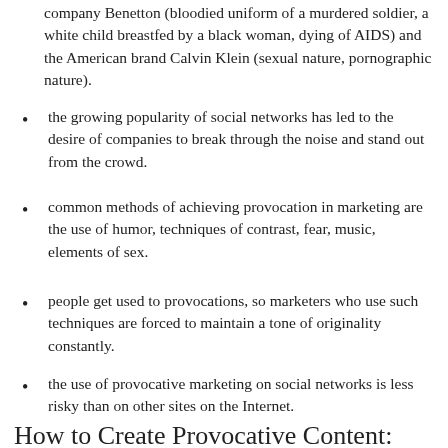company Benetton (bloodied uniform of a murdered soldier, a white child breastfed by a black woman, dying of AIDS) and the American brand Calvin Klein (sexual nature, pornographic nature).
the growing popularity of social networks has led to the desire of companies to break through the noise and stand out from the crowd.
common methods of achieving provocation in marketing are the use of humor, techniques of contrast, fear, music, elements of sex.
people get used to provocations, so marketers who use such techniques are forced to maintain a tone of originality constantly.
the use of provocative marketing on social networks is less risky than on other sites on the Internet.
How to Create Provocative Content: